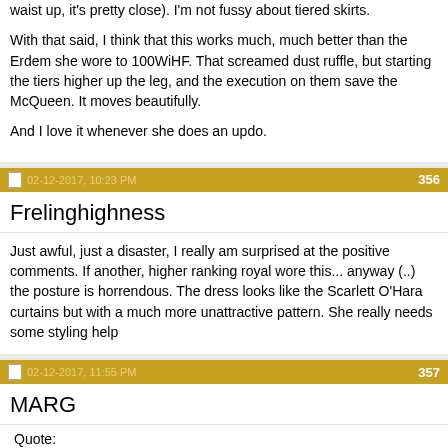waist up, it's pretty close). I'm not fussy about tiered skirts.

With that said, I think that this works much, much better than the Erdem she wore to 100WiHF. That screamed dust ruffle, but starting the tiers higher up the leg, and the execution on them save the McQueen. It moves beautifully.

And I love it whenever she does an updo.
02-12-2017, 10:23 PM  356
Frelinghighness
Just awful, just a disaster, I really am surprised at the positive comments. If another, higher ranking royal wore this... anyway (..) the posture is horrendous. The dress looks like the Scarlett O'Hara curtains but with a much more unattractive pattern. She really needs some styling help
02-12-2017, 11:55 PM  357
MARG
Quote: